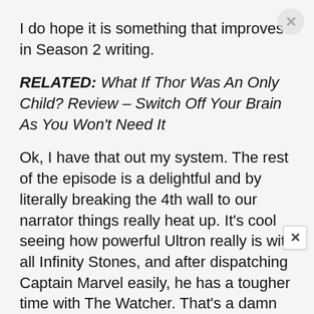I do hope it is something that improves in Season 2 writing.
RELATED: What If Thor Was An Only Child? Review – Switch Off Your Brain As You Won't Need It
Ok, I have that out my system. The rest of the episode is a delightful and by literally breaking the 4th wall to our narrator things really heat up. It's cool seeing how powerful Ultron really is with all Infinity Stones, and after dispatching Captain Marvel easily, he has a tougher time with The Watcher. That's a damn cool fight an the reality shifting as they fight was superbly well done. However, the set up here is for what comes next week. The